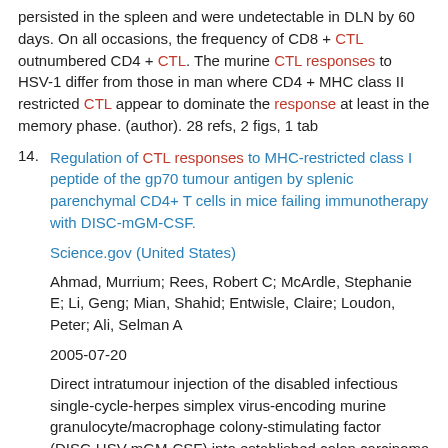persisted in the spleen and were undetectable in DLN by 60 days. On all occasions, the frequency of CD8 + CTL outnumbered CD4 + CTL. The murine CTL responses to HSV-1 differ from those in man where CD4 + MHC class II restricted CTL appear to dominate the response at least in the memory phase. (author). 28 refs, 2 figs, 1 tab
14. Regulation of CTL responses to MHC-restricted class I peptide of the gp70 tumour antigen by splenic parenchymal CD4+ T cells in mice failing immunotherapy with DISC-mGM-CSF.
Science.gov (United States)
Ahmad, Murrium; Rees, Robert C; McArdle, Stephanie E; Li, Geng; Mian, Shahid; Entwisle, Claire; Loudon, Peter; Ali, Selman A
2005-07-20
Direct intratumour injection of the disabled infectious single-cycle-herpes simplex virus-encoding murine granulocyte/macrophage colony-stimulating factor (DISC-HSV-mGM-CSF) into established colon carcinoma CT26 tumours induced complete tumour rejection in up to 70% of treated